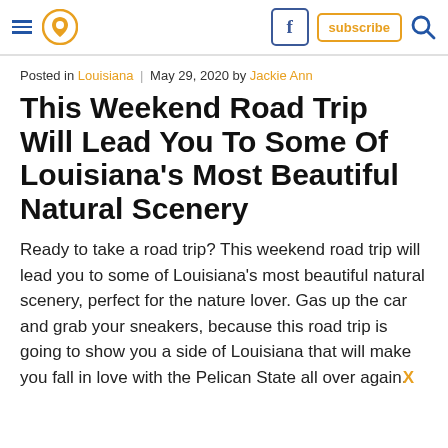≡ [pin icon] | [facebook] subscribe [search]
Posted in Louisiana | May 29, 2020 by Jackie Ann
This Weekend Road Trip Will Lead You To Some Of Louisiana's Most Beautiful Natural Scenery
Ready to take a road trip? This weekend road trip will lead you to some of Louisiana's most beautiful natural scenery, perfect for the nature lover. Gas up the car and grab your sneakers, because this road trip is going to show you a side of Louisiana that will make you fall in love with the Pelican State all over again.